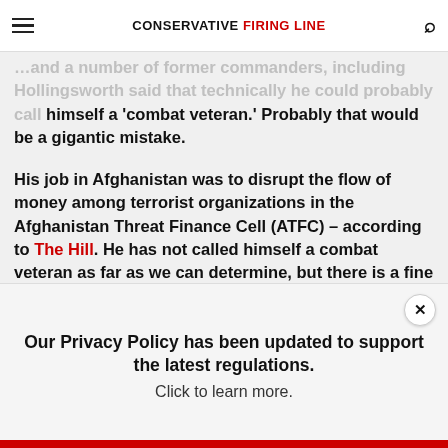CONSERVATIVE FIRING LINE
…and a number of former commanders, including Hollingsworth said that technically he could probably call himself a 'combat veteran.' Probably that would be a gigantic mistake.
His job in Afghanistan was to disrupt the flow of money among terrorist organizations in the Afghanistan Threat Finance Cell (ATFC) – according to The Hill. He has not called himself a combat veteran as far as we can determine, but there is a fine line here with his bragging. The question is, did he volunteer for service in Afghanistan just to pad his political resume?
Our Privacy Policy has been updated to support the latest regulations. Click to learn more.